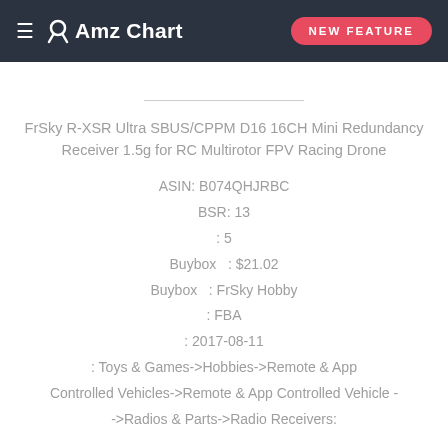≡ AmzChart | NEW FEATURE
FrSky R-XSR Ultra SBUS/CPPM D16 16CH Mini Redundancy Receiver 1.5g for RC Multirotor FPV Racing Drone
ASIN: B074QHJRBC
BSR: 13
: 5
Buybox  : $21.02
Buybox  : FrSky Hobby
: FBA
: 2017-08-11
: Toys & Games->Hobbies->Remote & App Controlled Vehicles->Remote & App Controlled Vehicle ->Radios & Parts->Radio Receivers: